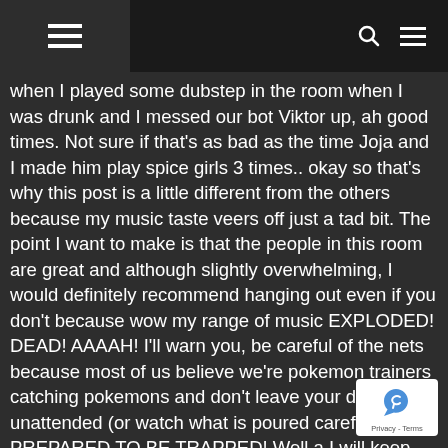[Navigation bar with hamburger menu, search icon, and menu icon]
when I played some dubstep in the room when I was drunk and I messed our bot Viktor up, ah good times. Not sure if that's as bad as the time Joja and I made him play spice girls 3 times.. okay so that's why this post is a little different from the others because my music taste veers off just a tad bit. The point I want to make is that the people in this room are great and although slightly overwhelming, I would definitely recommend hanging out even if you don't because wow my range of music EXPLODED! DEAD! AAAAH! I'll warn you, be careful of the nets because most of us believe we're pokemon trainers catching pokemons and don't leave your drink unattended (or watch what is poured carefully). BE PREPARED TO BE TRAPPED! Well a I will keep this brief and wrap it up by sharing tw favorite songs from MF room NOW.